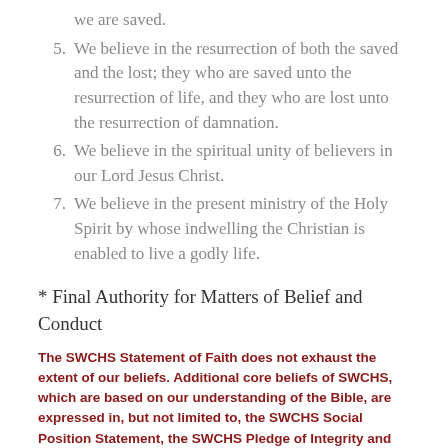we are saved.
5. We believe in the resurrection of both the saved and the lost; they who are saved unto the resurrection of life, and they who are lost unto the resurrection of damnation.
6. We believe in the spiritual unity of believers in our Lord Jesus Christ.
7. We believe in the present ministry of the Holy Spirit by whose indwelling the Christian is enabled to live a godly life.
* Final Authority for Matters of Belief and Conduct
The SWCHS Statement of Faith does not exhaust the extent of our beliefs. Additional core beliefs of SWCHS, which are based on our understanding of the Bible, are expressed in, but not limited to, the SWCHS Social Position Statement, the SWCHS Pledge of Integrity and Biblical Morality, and the SWCHS Philosophy of Education. The Bible itself, as the inspired and infallible Word of God that speaks